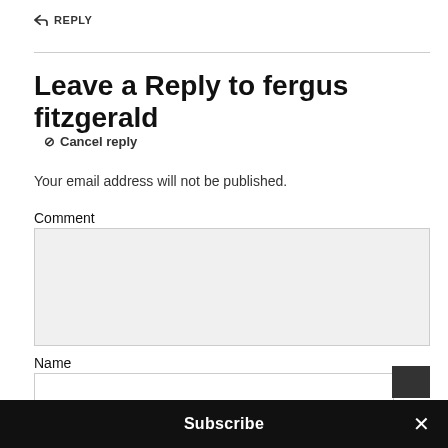↩ REPLY
Leave a Reply to fergus fitzgerald
⊘ Cancel reply
Your email address will not be published.
Comment
Name
Email
Subscribe